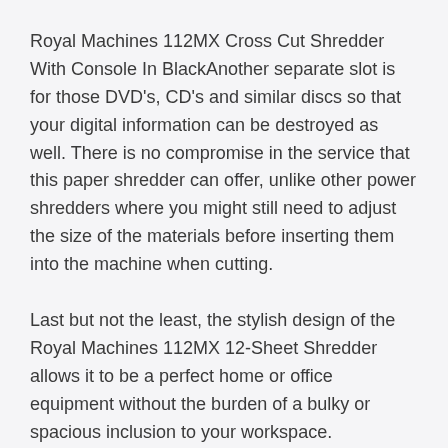Royal Machines 112MX Cross Cut Shredder With Console In BlackAnother separate slot is for those DVD's, CD's and similar discs so that your digital information can be destroyed as well. There is no compromise in the service that this paper shredder can offer, unlike other power shredders where you might still need to adjust the size of the materials before inserting them into the machine when cutting.
Last but not the least, the stylish design of the Royal Machines 112MX 12-Sheet Shredder allows it to be a perfect home or office equipment without the burden of a bulky or spacious inclusion to your workspace.